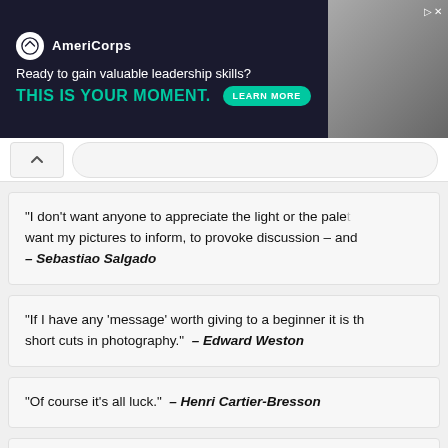[Figure (screenshot): AmeriCorps advertisement banner: dark background with logo, tagline 'Ready to gain valuable leadership skills? THIS IS YOUR MOMENT.' with LEARN MORE button and photo of people on right.]
“I don’t want anyone to appreciate the light or the palette. I want my pictures to inform, to provoke discussion – and – Sebastiao Salgado
“If I have any ‘message’ worth giving to a beginner it is th... short cuts in photography.” – Edward Weston
“Of course it’s all luck.” – Henri Cartier-Bresson
“Th...